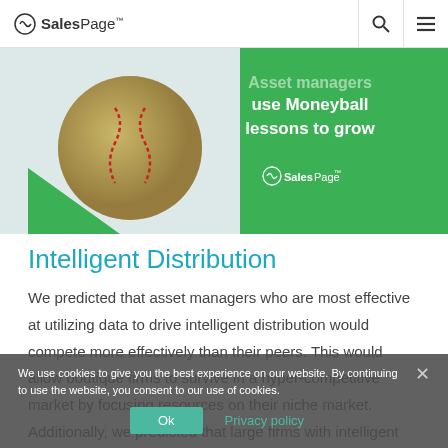SalesPage
[Figure (illustration): Baseball made of dollar bills with SalesPage branding and text 'Asset managers use Moneyball lessons to grow' on green background]
Intelligent Distribution
We predicted that asset managers who are most effective at utilizing data to drive intelligent distribution would compete more effectively than their peers. This would allow boutique firms to survive in a hyper-competitive market by focusing resources on their niche market. Additionally, we predicted that large firms with intelligent distribution would gain market
We use cookies to give you the best experience on our website. By continuing to use the website, you consent to our use of cookies.